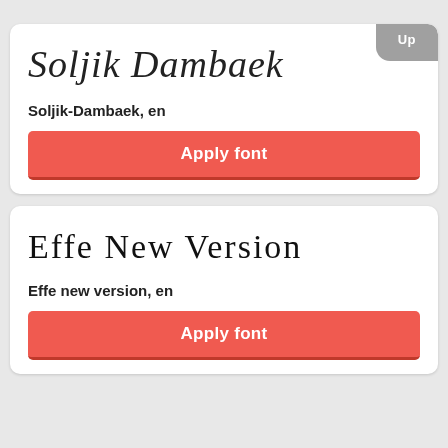[Figure (screenshot): Handwritten-style font preview showing 'Soljik Dambaek' in a cursive script]
Soljik-Dambaek, en
Apply font
[Figure (screenshot): Handwritten-style font preview showing 'Effe New Version' in a cartoon/handwriting font]
Effe new version, en
Apply font